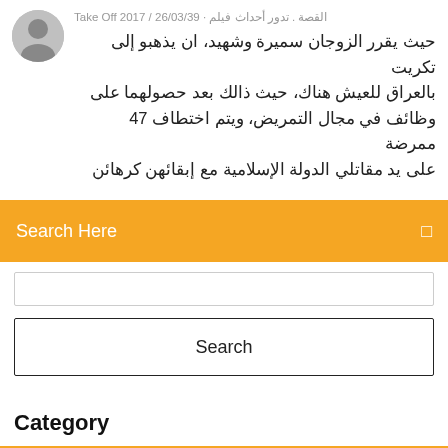Take Off 2017 / القصة . تدور أحداث فيلم · 26/03/39
حيث يقرر الزوجان سميرة وشهيد، ان يذهبو إلى تكريت بالعراق للعيش هناك، حيث ذالك بعد حصولهما على وظائف في مجال التمريض، ويتم اختطاف 47 ممرضة على يد مقاتلي الدولة الإسلامية مع إبقائهن كرهائن
Search Here
Search
Category